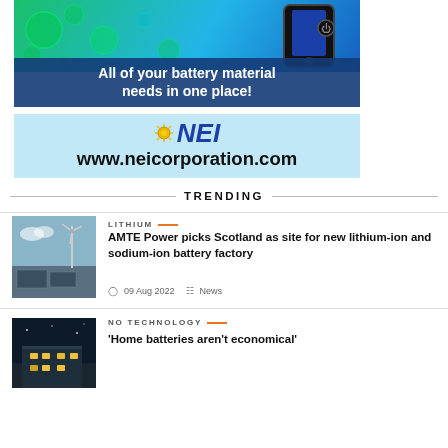[Figure (illustration): NEI Corporation advertisement banner showing battery materials, bubbles, smartphone, NEI logo, and website URL www.neicorporation.com with text 'All of your battery material needs in one place!']
TRENDING
[Figure (photo): Aerial photo of solar panels and wind turbines at an energy facility]
LITHIUM
AMTE Power picks Scotland as site for new lithium-ion and sodium-ion battery factory
09 Aug 2022   News
[Figure (photo): Photo of a building at night, related to home batteries article]
NO TECHNOLOGY
'Home batteries aren't economical'